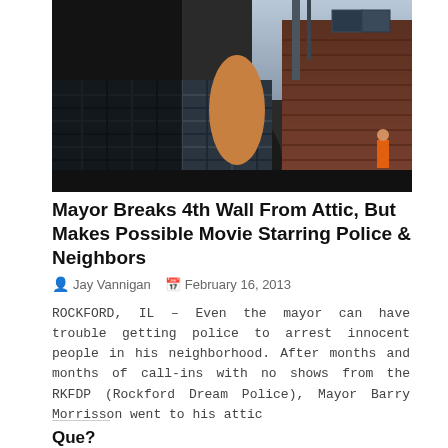[Figure (photo): Dark outdoor photo showing a person in a plaid/checkered shirt in the foreground and a brick building in the background]
Mayor Breaks 4th Wall From Attic, But Makes Possible Movie Starring Police & Neighbors
Jay Vannigan   February 16, 2013
ROCKFORD, IL – Even the mayor can have trouble getting police to arrest innocent people in his neighborhood. After months and months of call-ins with no shows from the RKFDP (Rockford Dream Police), Mayor Barry Morrisson went to his attic
Que?
[Figure (screenshot): Social sharing buttons: Tweet (Twitter/blue), Share (LinkedIn/blue), More (grey outline)]
READ MORE